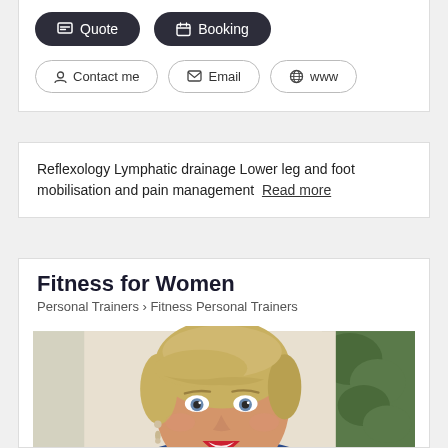Quote
Booking
Contact me
Email
www
Reflexology Lymphatic drainage Lower leg and foot mobilisation and pain management Read more
Fitness for Women
Personal Trainers > Fitness Personal Trainers
[Figure (photo): Portrait photo of a smiling middle-aged woman with short blonde hair, wearing a blue patterned top and drop earrings, photographed outdoors with green foliage in the background.]